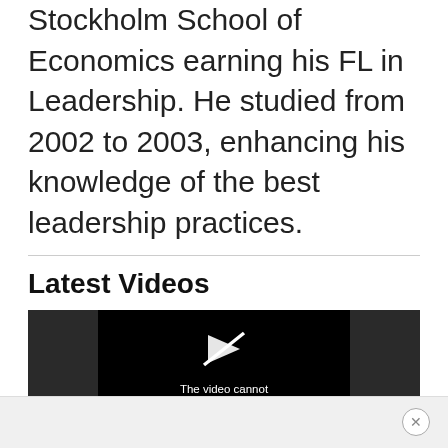Stockholm School of Economics earning his FL in Leadership. He studied from 2002 to 2003, enhancing his knowledge of the best leadership practices.
Latest Videos
[Figure (screenshot): Video player showing error message: 'The video cannot be played in this browser. (Error Code: 242632)']